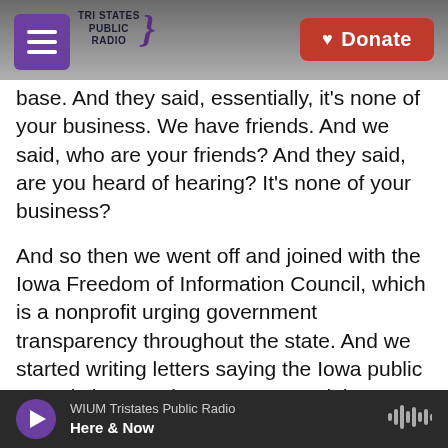Tri States Public Radio | Donate
base. And they said, essentially, it's none of your business. We have friends. And we said, who are your friends? And they said, are you heard of hearing? It's none of your business?

And so then we went off and joined with the Iowa Freedom of Information Council, which is a nonprofit urging government transparency throughout the state. And we started writing letters saying the Iowa public records law requires you to reveal these donors. And eventually, they agreed to us after having spent about a million dollars from the slush fund in legal. And within - so the counties
WIUM Tristates Public Radio
Here & Now